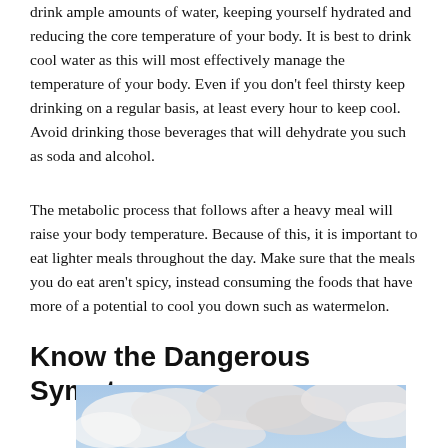drink ample amounts of water, keeping yourself hydrated and reducing the core temperature of your body. It is best to drink cool water as this will most effectively manage the temperature of your body. Even if you don't feel thirsty keep drinking on a regular basis, at least every hour to keep cool. Avoid drinking those beverages that will dehydrate you such as soda and alcohol.
The metabolic process that follows after a heavy meal will raise your body temperature. Because of this, it is important to eat lighter meals throughout the day. Make sure that the meals you do eat aren't spicy, instead consuming the foods that have more of a potential to cool you down such as watermelon.
Know the Dangerous Symptoms
[Figure (photo): A person walking outdoors in a sunny landscape with rolling hills and dramatic cloudy sky, holding a large colorful beach umbrella. The terrain appears dry and sandy with green shrubs.]